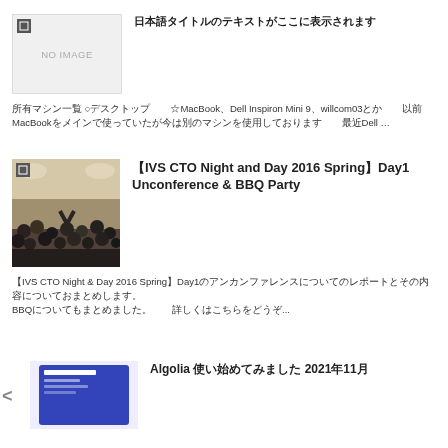[Figure (photo): NO IMAGE placeholder thumbnail with gray background]
日本語タイトルテキスト（非表示）
所有マシン一覧 ○デスクトップ　☆MacBook、Dell Inspiron Mini 9、willcom03とか　以前MacBookを使っていたが今は別のマシンを使用している　最近Dell ...
[Figure (photo): Crowd photo from IVS CTO Night and Day 2016 Spring event]
【IVS CTO Night and Day 2016 Spring】Day1 Unconference & BBQ Party
【IVS CTO Night & Day 2016 Spring】Day1のアンカンファレンスについてのレポートとその内容についてまとめます。BBQについてもまとめました。　詳しくはこちらをどうぞ...
[Figure (screenshot): Screenshot of Algolia website interface]
Algolia 使い始めてみました 2021年11月